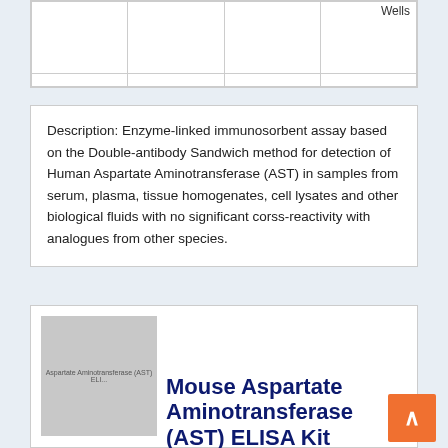|  |  |  | Wells |
| --- | --- | --- | --- |
|  |  |  |  |
Description: Enzyme-linked immunosorbent assay based on the Double-antibody Sandwich method for detection of Human Aspartate Aminotransferase (AST) in samples from serum, plasma, tissue homogenates, cell lysates and other biological fluids with no significant corss-reactivity with analogues from other species.
[Figure (photo): Product image placeholder for Aspartate Aminotransferase (AST) ELISA kit with label text]
Mouse Aspartate Aminotransferase (AST) ELISA Kit